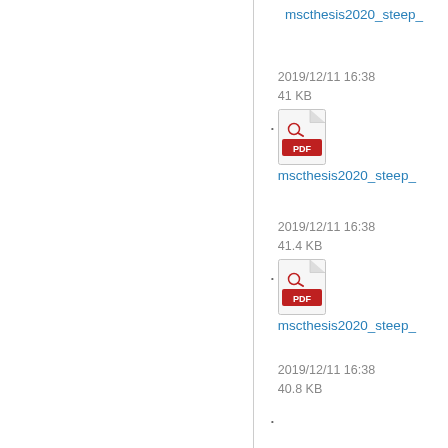mscthesis2020_steep_
2019/12/11 16:38
41 KB
mscthesis2020_steep_
2019/12/11 16:38
41.4 KB
mscthesis2020_steep_
2019/12/11 16:38
40.8 KB
mscthesis2020_taddei
2019/11/28 10:59
210.1 KB
mscthesis2020_tiama_
(partial)